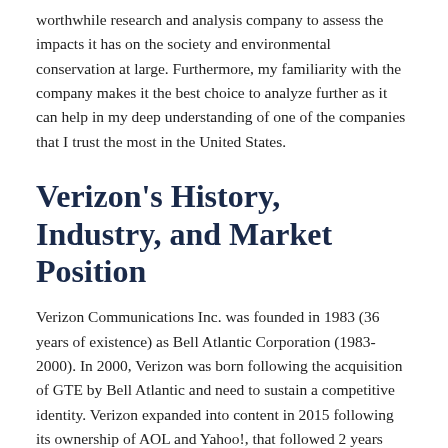worthwhile research and analysis company to assess the impacts it has on the society and environmental conservation at large. Furthermore, my familiarity with the company makes it the best choice to analyze further as it can help in my deep understanding of one of the companies that I trust the most in the United States.
Verizon's History, Industry, and Market Position
Verizon Communications Inc. was founded in 1983 (36 years of existence) as Bell Atlantic Corporation (1983-2000). In 2000, Verizon was born following the acquisition of GTE by Bell Atlantic and need to sustain a competitive identity. Verizon expanded into content in 2015 following its ownership of AOL and Yahoo!, that followed 2 years later (Conrad & Speculations 2018). Verizon operates the second-largest U.S. wireless communications subsidiary – Verizon Wireless – one which this paper will focus closely on to meet all the requirements of the course. As of April 2019, Verizon